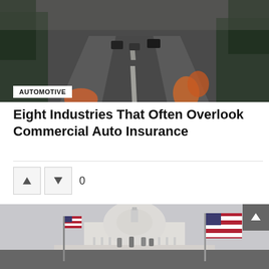[Figure (photo): Aerial view of a highway with cars, shot from a person's hand holding balloons, moody/dark tones]
AUTOMOTIVE
Eight Industries That Often Overlook Commercial Auto Insurance
[Figure (photo): Crowd of people with American flags gathered at the US Capitol building]